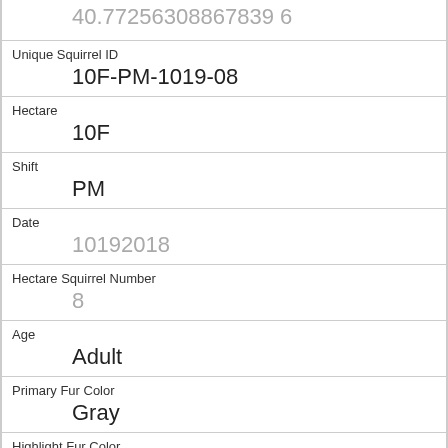40.77256308867839 6
Unique Squirrel ID
10F-PM-1019-08
Hectare
10F
Shift
PM
Date
10192018
Hectare Squirrel Number
8
Age
Adult
Primary Fur Color
Gray
Highlight Fur Color
Cinnamon
Combination of Primary and Highlight Color
Gray+Cinnamon
Color notes